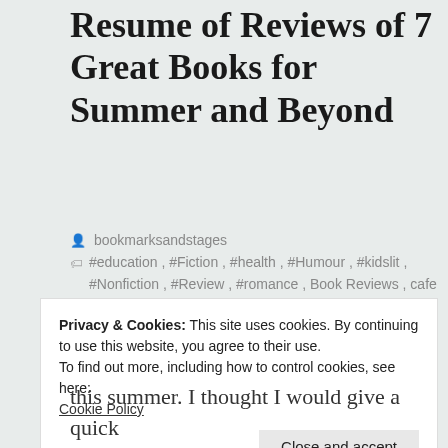Resume of Reviews of 7 Great Books for Summer and Beyond
bookmarksandstages
#education, #Fiction, #health, #Humour, #kidslit, #Nonfiction, #Review, #romance, Book Reviews, cafe culture, CrimeFiction, Family, Food, Kids books, political thriller, Psychological, Romance, summerread, Thriller, Uncategorised
15th Aug 2019
Privacy & Cookies: This site uses cookies. By continuing to use this website, you agree to their use.
To find out more, including how to control cookies, see here: Cookie Policy
Close and accept
this summer. I thought I would give a quick